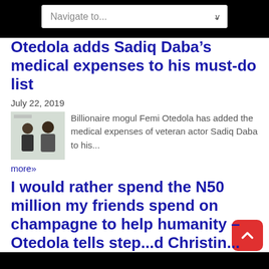Navigate to...
Otedola adds Sadiq Daba’s medical expenses to his must-do list
July 22, 2019
[Figure (photo): Photo of two people at an event]
Billionaire mogul Femi Otedola has added the medical expenses of veteran actor Sadiq Daba to his...
more»
I would rather spend the N50 million my friends spend on champagne to help humanity – Otedola tells step...d Christin...